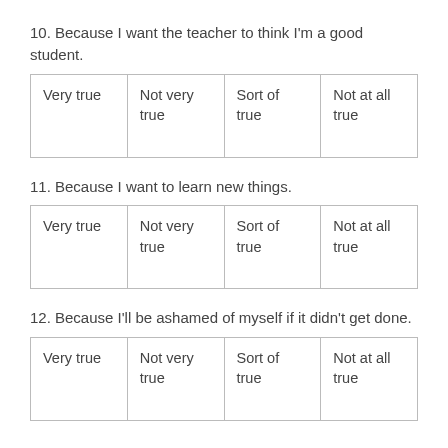10. Because I want the teacher to think I'm a good student.
| Very true | Not very true | Sort of true | Not at all true |
11. Because I want to learn new things.
| Very true | Not very true | Sort of true | Not at all true |
12. Because I'll be ashamed of myself if it didn't get done.
| Very true | Not very
true | Sort of
true | Not at all
true |